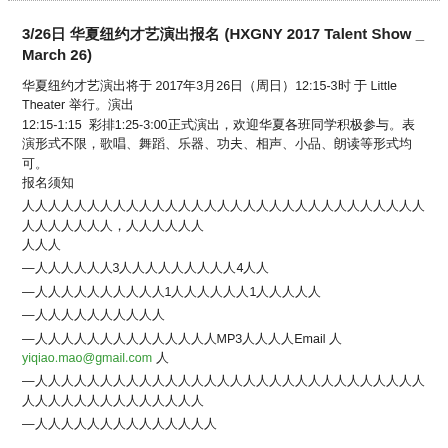3/26日 华夏纽约才艺演出报名 (HXGNY 2017 Talent Show _ March 26)
华夏纽约才艺演出将于 2017年3月26日（周日）12:15-3时 于 Little Theater 举行。演出 12:15-1:15 彩排1:25-3:00正式演出，欢迎华夏各班同学积极参与。表演形式不限，歌唱、舞蹈、乐器、功夫、相声、小品、朗读等。
报名须知：每个节目时间不超过3分钟（特殊情况可申请4分钟）
—每个节目时间不超过3分钟（特殊情况可申请4分钟）
—同一个同学可参加1个节目，也可参加1个以上节目
—谢绝口技、魔术表演
—如需音乐伴奏，请将MP3文件以Email方式 yiqiao.mao@gmail.com 发送
—演出结束后，每个节目的学生可以在后台拿到一份小礼物和一份零食
—演出结束后有茶点招待
报名链接: https://goo.gl/forms/5QzfamFZAzC5Ig713
报名截止: 2017年3月22日 10PM
back to top